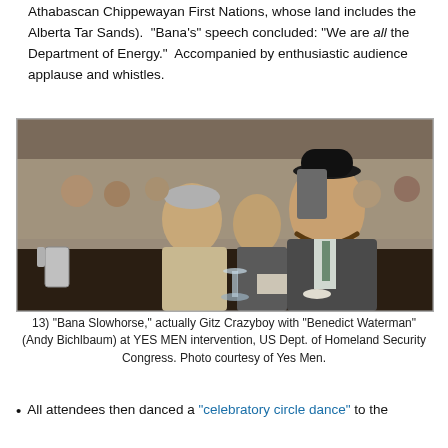Athabascan Chippewayan First Nations, whose land includes the Alberta Tar Sands). "Bana's" speech concluded: "We are all the Department of Energy." Accompanied by enthusiastic audience applause and whistles.
[Figure (photo): Photo of 'Bana Slowhorse' (actually Gitz Crazyboy) seated at a conference table wearing a black bowler hat and beaded necklace, next to 'Benedict Waterman' (Andy Bichlbaum), at a YES MEN intervention at the US Dept. of Homeland Security Congress, with a crowded conference room in the background.]
13) "Bana Slowhorse," actually Gitz Crazyboy with "Benedict Waterman" (Andy Bichlbaum) at YES MEN intervention, US Dept. of Homeland Security Congress. Photo courtesy of Yes Men.
All attendees then danced a "celebratory circle dance" to the